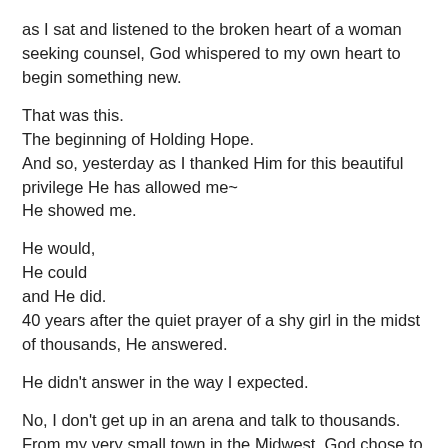as I sat and listened to the broken heart of a woman seeking counsel, God whispered to my own heart to begin something new.
That was this.
The beginning of Holding Hope.
And so, yesterday as I thanked Him for this beautiful privilege He has allowed me~
He showed me.
He would,
He could
and He did.
40 years after the quiet prayer of a shy girl in the midst of thousands, He answered.
He didn't answer in the way I expected.
No, I don't get up in an arena and talk to thousands. From my very small town in the Midwest, God chose to use